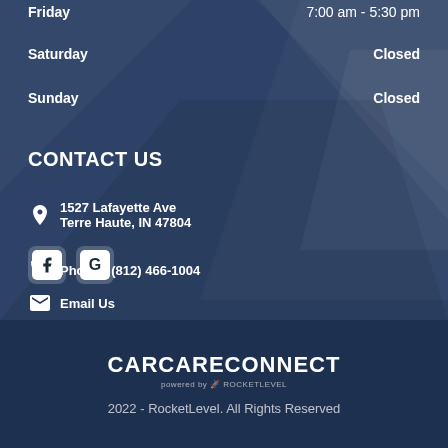Friday  7:00 am - 5:30 pm
Saturday  Closed
Sunday  Closed
CONTACT US
1527 Lafayette Ave
Terre Haute, IN 47804
Phone :  (812) 466-1004
Email Us
[Figure (logo): Facebook icon button and Google icon button]
CARCARECONNECT
powered by ROCKETLEVEL
2022 - RocketLevel. All Rights Reserved